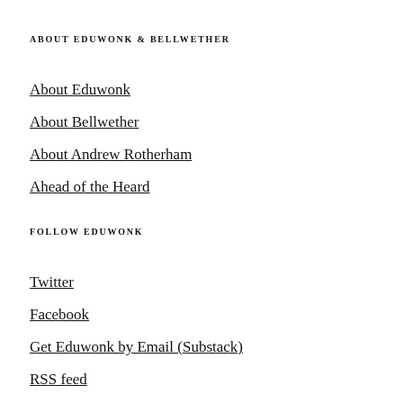ABOUT EDUWONK & BELLWETHER
About Eduwonk
About Bellwether
About Andrew Rotherham
Ahead of the Heard
FOLLOW EDUWONK
Twitter
Facebook
Get Eduwonk by Email (Substack)
RSS feed